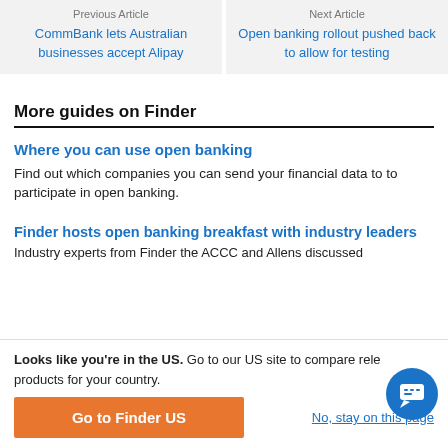Previous Article
CommBank lets Australian businesses accept Alipay
Next Article
Open banking rollout pushed back to allow for testing
More guides on Finder
Where you can use open banking
Find out which companies you can send your financial data to to participate in open banking.
Finder hosts open banking breakfast with industry leaders
Industry experts from Finder the ACCC and Allens discussed
Looks like you're in the US. Go to our US site to compare relevant products for your country.
Go to Finder US
No, stay on this page